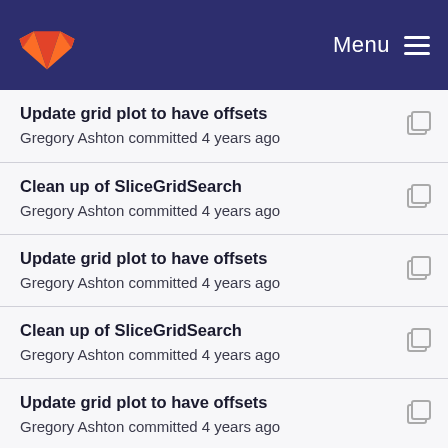GitLab · Menu
Update grid plot to have offsets
Gregory Ashton committed 4 years ago
Clean up of SliceGridSearch
Gregory Ashton committed 4 years ago
Update grid plot to have offsets
Gregory Ashton committed 4 years ago
Clean up of SliceGridSearch
Gregory Ashton committed 4 years ago
Update grid plot to have offsets
Gregory Ashton committed 4 years ago
Clean up of SliceGridSearch
Gregory Ashton committed 4 years ago
Refactoring the pyfstat code
Gregory Ashton committed 5 years ago
Improvements to grid searches
Gregory Ashton committed